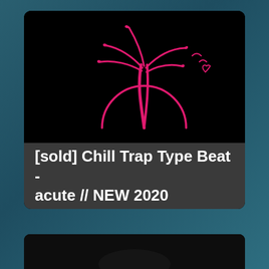[Figure (illustration): Neon pink palm tree and rising sun outline illustration on black background, music beat thumbnail]
[sold] Chill Trap Type Beat - acute // NEW 2020
[Figure (photo): Partial view of a second video thumbnail card at the bottom, dark background]